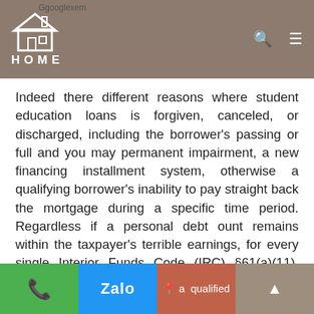JCI HOME
Indeed there different reasons where student education loans is forgiven, canceled, or discharged, including the borrower's passing or full and you may permanent impairment, a new financing installment system, otherwise a qualifying borrower's inability to pay straight back the mortgage during a specific time period. Regardless if a personal debt ount remains within the taxpayer's terrible earnings, for every single Interior Funds Code (IRC) §61(a)(11). However, you will find several conditions significantly less than which the taxpayer ount of money once the considering when you look at the IRC §108(f)(1).
A student loan was people mortgage offered to a qualified
Phone | Zalo | Map | Up